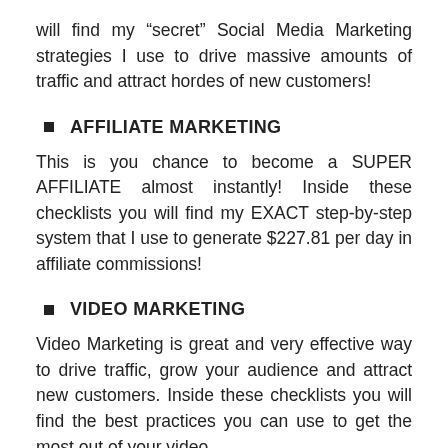will find my “secret” Social Media Marketing strategies I use to drive massive amounts of traffic and attract hordes of new customers!
AFFILIATE MARKETING
This is you chance to become a SUPER AFFILIATE almost instantly! Inside these checklists you will find my EXACT step-by-step system that I use to generate $227.81 per day in affiliate commissions!
VIDEO MARKETING
Video Marketing is great and very effective way to drive traffic, grow your audience and attract new customers. Inside these checklists you will find the best practices you can use to get the most out of your video